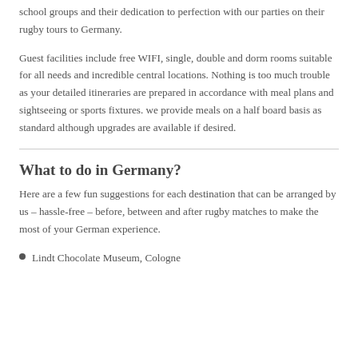school groups and their dedication to perfection with our parties on their rugby tours to Germany.
Guest facilities include free WIFI, single, double and dorm rooms suitable for all needs and incredible central locations. Nothing is too much trouble as your detailed itineraries are prepared in accordance with meal plans and sightseeing or sports fixtures. we provide meals on a half board basis as standard although upgrades are available if desired.
What to do in Germany?
Here are a few fun suggestions for each destination that can be arranged by us – hassle-free – before, between and after rugby matches to make the most of your German experience.
Lindt Chocolate Museum, Cologne